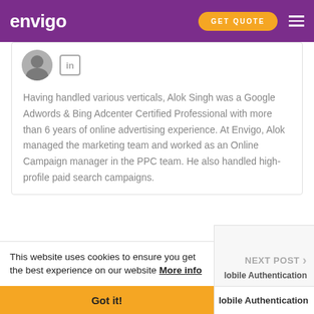envigo
[Figure (photo): Profile photo of Alok Singh (black and white headshot) with LinkedIn icon]
Having handled various verticals, Alok Singh was a Google Adwords & Bing Adcenter Certified Professional with more than 6 years of online advertising experience. At Envigo, Alok managed the marketing team and worked as an Online Campaign manager in the PPC team. He also handled high-profile paid search campaigns.
View posts by Alok Singh
This website uses cookies to ensure you get the best experience on our website More info
NEXT POST
lobile Authentication
Got it!